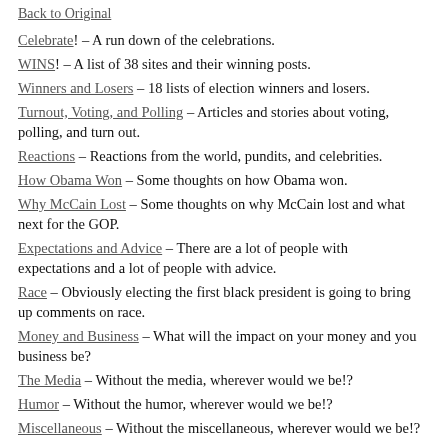Back to Original
Celebrate! – A run down of the celebrations.
WINS! – A list of 38 sites and their winning posts.
Winners and Losers – 18 lists of election winners and losers.
Turnout, Voting, and Polling – Articles and stories about voting, polling, and turn out.
Reactions – Reactions from the world, pundits, and celebrities.
How Obama Won – Some thoughts on how Obama won.
Why McCain Lost – Some thoughts on why McCain lost and what next for the GOP.
Expectations and Advice – There are a lot of people with expectations and a lot of people with advice.
Race – Obviously electing the first black president is going to bring up comments on race.
Money and Business – What will the impact on your money and you business be?
The Media – Without the media, wherever would we be!?
Humor – Without the humor, wherever would we be!?
Miscellaneous – Without the miscellaneous, wherever would we be!?